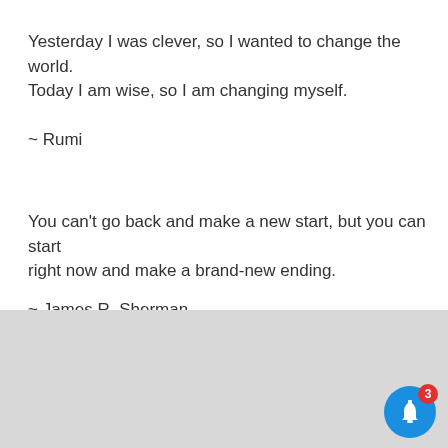Yesterday I was clever, so I wanted to change the world. Today I am wise, so I am changing myself.
~ Rumi
You can't go back and make a new start, but you can start right now and make a brand-new ending.
~ James R. Sherman
[Figure (screenshot): BitLife mobile app advertisement banner with red background on the left showing the BitLife logo with sperm icon and yellow/white text, and white background on right showing 'Murder' text in dark red and 'Do it!' button in blue, with close/help icons in top right corner]
[Figure (illustration): Blue circular notification bell button with red badge showing count of 3]